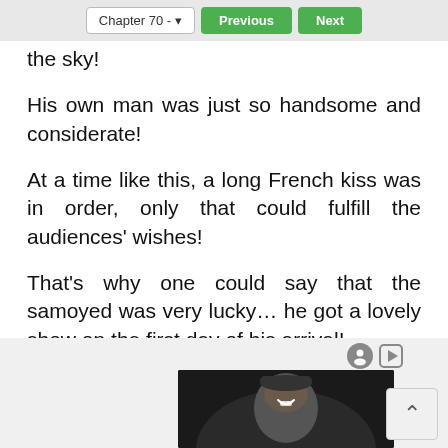Chapter 70 -  Previous  Next
the sky!
His own man was just so handsome and considerate!
At a time like this, a long French kiss was in order, only that could fulfill the audiences' wishes!
That's why one could say that the samoyed was very lucky… he got a lovely show on the first day of his arrival!
[Figure (photo): Advertisement banner with icons and a photo of a man wearing a cap, smiling, against a dark background.]